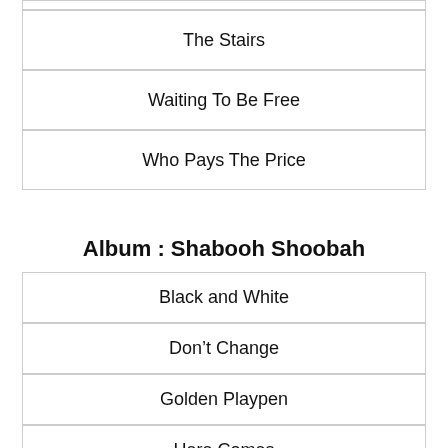The Stairs
Waiting To Be Free
Who Pays The Price
Album : Shabooh Shoobah
Black and White
Don't Change
Golden Playpen
Here Comes
Jan's Song
Old World New World
Soul Mistake